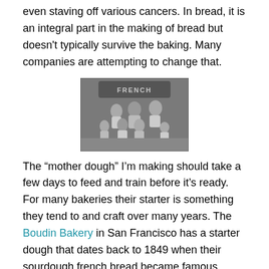even staving off various cancers. In bread, it is an integral part in the making of bread but doesn't typically survive the baking. Many companies are attempting to change that.
[Figure (photo): Black and white historical photograph of a group of people, adults and children, posing in front of a French bakery sign.]
The “mother dough” I’m making should take a few days to feed and train before it’s ready. For many bakeries their starter is something they tend to and craft over many years. The Boudin Bakery in San Francisco has a starter dough that dates back to 1849 when their sourdough french bread became famous during the Gold Rush.